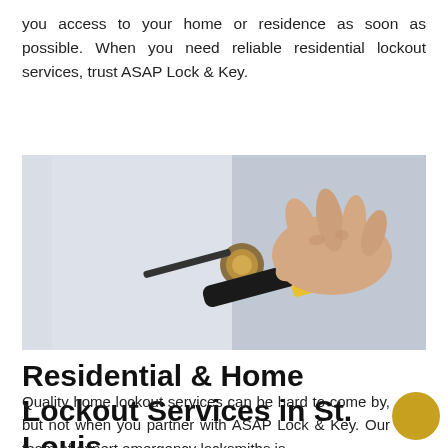you access to your home or residence as soon as possible. When you need reliable residential lockout services, trust ASAP Lock & Key.
[Figure (photo): A hand using a locksmith tool to work on a door lock, with a white door in the background.]
Residential & Home Lockout Services in St. Louis
Quality home lockout services can be hard to come by, but not when you partner with ASAP Lock & Key. Our team of expert emergency locksmiths is